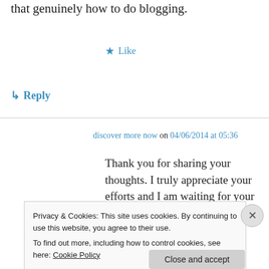that genuinely how to do blogging.
★ Like
↳ Reply
discover more now on 04/06/2014 at 05:36
Thank you for sharing your thoughts. I truly appreciate your efforts and I am waiting for your next write ups thanks once again.
★ Like
Privacy & Cookies: This site uses cookies. By continuing to use this website, you agree to their use.
To find out more, including how to control cookies, see here: Cookie Policy
Close and accept